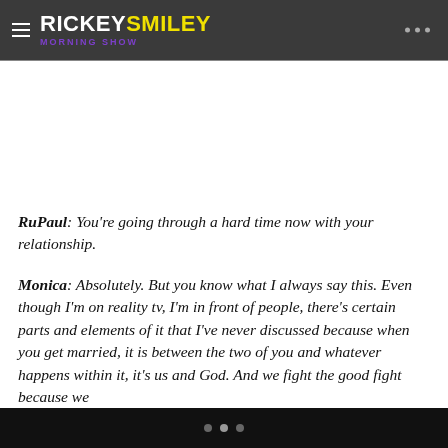RICKEY SMILEY MORNING SHOW
RuPaul: You're going through a hard time now with your relationship.
Monica: Absolutely. But you know what I always say this. Even though I'm on reality tv, I'm in front of people, there's certain parts and elements of it that I've never discussed because when you get married, it is between the two of you and whatever happens within it, it's us and God. And we fight the good fight because we